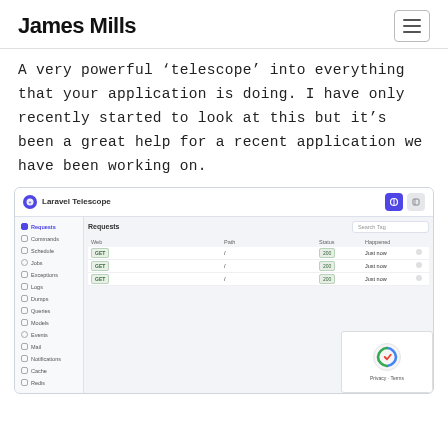James Mills
A very powerful ‘telescope’ into everything that your application is doing. I have only recently started to look at this but it’s been a great help for a recent application we have been working on.
[Figure (screenshot): Laravel Telescope admin interface screenshot showing a sidebar with navigation items (Requests, Commands, Schedule, Jobs, Exceptions, Logs, Dumps, Queries, Models, Events, Mail, Notifications, Cache, Redis) and a main panel showing a Requests table with columns Web, Path, Status, Happened. Three GET / requests are shown each with status 200 and timestamp 'Just now'. A reCAPTCHA widget appears in the bottom-right corner.]